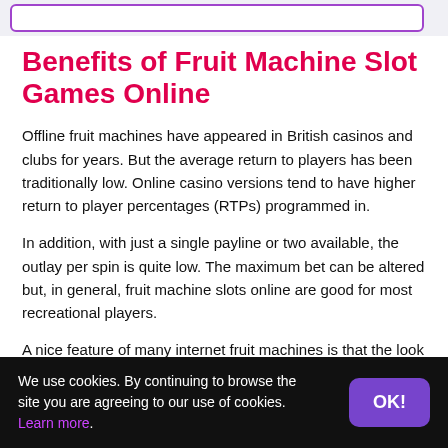Benefits of Fruit Machine Slot Games Online
Offline fruit machines have appeared in British casinos and clubs for years. But the average return to players has been traditionally low. Online casino versions tend to have higher return to player percentages (RTPs) programmed in.
In addition, with just a single payline or two available, the outlay per spin is quite low. The maximum bet can be altered but, in general, fruit machine slots online are good for most recreational players.
A nice feature of many internet fruit machines is that the look and feel is similar to land-based games. The sounds and animation come straight from the arcade, and the display...
We use cookies. By continuing to browse the site you are agreeing to our use of cookies. Learn more.